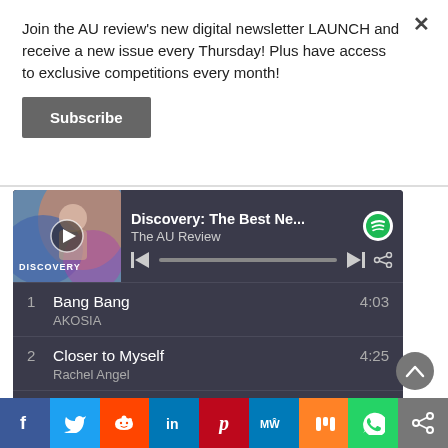Join the AU review's new digital newsletter LAUNCH and receive a new issue every Thursday! Plus have access to exclusive competitions every month!
Subscribe
[Figure (screenshot): Spotify embedded player showing 'Discovery: The Best Ne...' playlist by The AU Review with playback controls and track listing: 1. Bang Bang - AKOSIA (4:03), 2. Closer to Myself - Rachel Angel (4:25), 3. Moonflowers (Best Friend) - Tommy Ashby (3:02)]
[Figure (infographic): Social media sharing bar with icons for Facebook, Twitter, Reddit, LinkedIn, Pinterest, MeWe, Mix, WhatsApp, and Share]